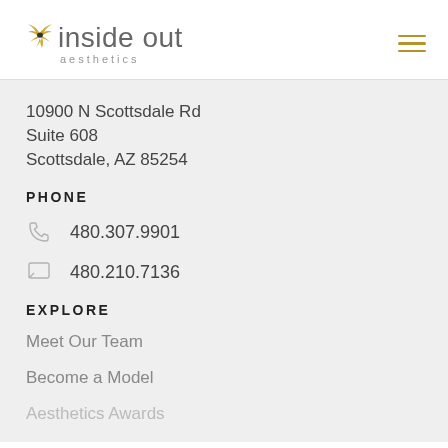[Figure (logo): Inside Out Aesthetics logo with bird/star icon in gold, text 'inside out' in grey sans-serif, 'aesthetics' in smaller spaced letters below]
10900 N Scottsdale Rd
Suite 608
Scottsdale, AZ 85254
PHONE
480.307.9901
480.210.7136
EXPLORE
Meet Our Team
Become a Model
Aesthetics Awards